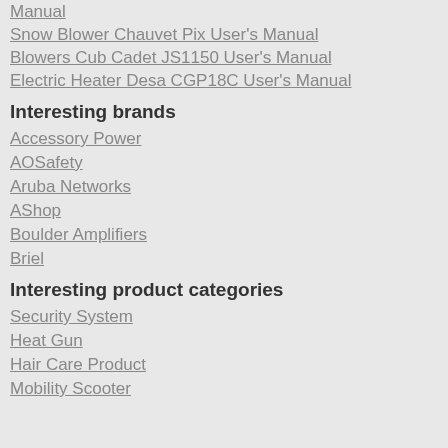Manual
Snow Blower Chauvet Pix User's Manual
Blowers Cub Cadet JS1150 User's Manual
Electric Heater Desa CGP18C User's Manual
Interesting brands
Accessory Power
AOSafety
Aruba Networks
AShop
Boulder Amplifiers
Briel
Interesting product categories
Security System
Heat Gun
Hair Care Product
Mobility Scooter